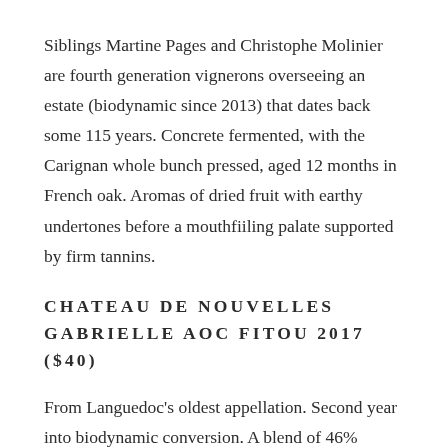Siblings Martine Pages and Christophe Molinier are fourth generation vignerons overseeing an estate (biodynamic since 2013) that dates back some 115 years. Concrete fermented, with the Carignan whole bunch pressed, aged 12 months in French oak. Aromas of dried fruit with earthy undertones before a mouthfiiling palate supported by firm tannins.
CHATEAU DE NOUVELLES GABRIELLE AOC FITOU 2017 ($40)
From Languedoc's oldest appellation. Second year into biodynamic conversion. A blend of 46% Carignan and 30% Grenache with 10%